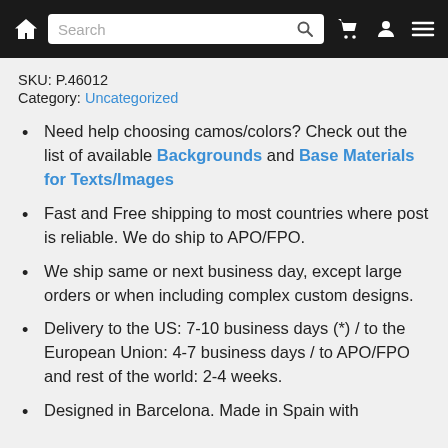Search bar navigation with home, cart, user, and menu icons
SKU: P.46012
Category: Uncategorized
Need help choosing camos/colors? Check out the list of available Backgrounds and Base Materials for Texts/Images
Fast and Free shipping to most countries where post is reliable. We do ship to APO/FPO.
We ship same or next business day, except large orders or when including complex custom designs.
Delivery to the US: 7-10 business days (*) / to the European Union: 4-7 business days / to APO/FPO and rest of the world: 2-4 weeks.
Designed in Barcelona. Made in Spain with